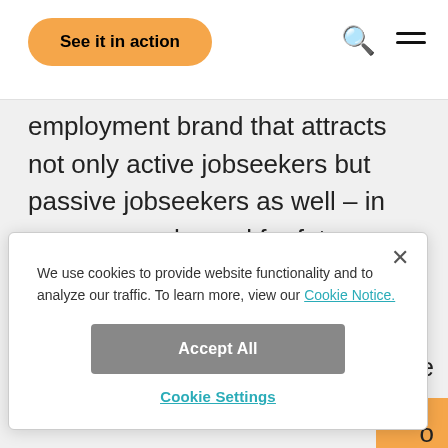See it in action
employment brand that attracts not only active jobseekers but passive jobseekers as well – in essence, a channel for future applicants!
We use cookies to provide website functionality and to analyze our traffic. To learn more, view our Cookie Notice.
Accept All
Cookie Settings